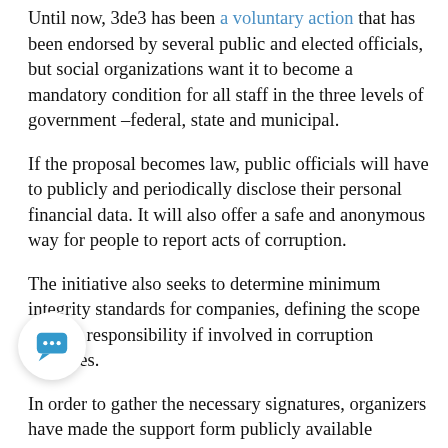Until now, 3de3 has been a voluntary action that has been endorsed by several public and elected officials, but social organizations want it to become a mandatory condition for all staff in the three levels of government –federal, state and municipal.
If the proposal becomes law, public officials will have to publicly and periodically disclose their personal financial data. It will also offer a safe and anonymous way for people to report acts of corruption.
The initiative also seeks to determine minimum integrity standards for companies, defining the scope of their responsibility if involved in corruption activities.
In order to gather the necessary signatures, organizers have made the support form publicly available through the w...e.
L...s of the proposal include representatives of Transparencia Mexicana, the Centro de Investigación y